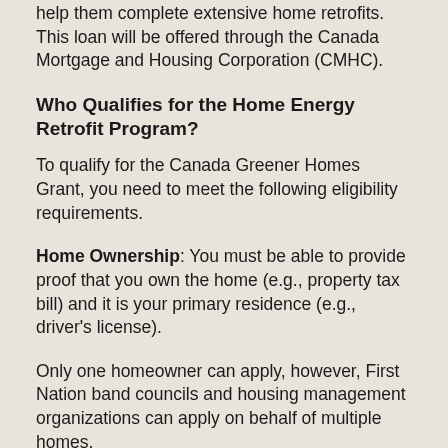help them complete extensive home retrofits. This loan will be offered through the Canada Mortgage and Housing Corporation (CMHC).
Who Qualifies for the Home Energy Retrofit Program?
To qualify for the Canada Greener Homes Grant, you need to meet the following eligibility requirements.
Home Ownership: You must be able to provide proof that you own the home (e.g., property tax bill) and it is your primary residence (e.g., driver's license).
Only one homeowner can apply, however, First Nation band councils and housing management organizations can apply on behalf of multiple homes.